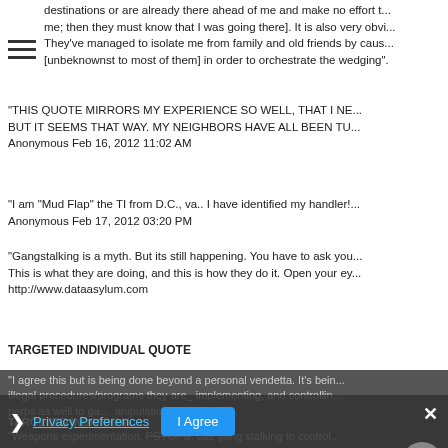destinations or are already there ahead of me and make no effort to [me, then they must know that I was going there]. It is also very obvi... They've managed to isolate me from family and old friends by caus... [unbeknownst to most of them] in order to orchestrate the wedging".
“THIS QUOTE MIRRORS MY EXPERIENCE SO WELL, THAT I NE... BUT IT SEEMS THAT WAY. MY NEIGHBORS HAVE ALL BEEN TU...
Anonymous Feb 16, 2012 11:02 AM
“I am “Mud Flap” the TI from D.C., va.. I have identified my handler!...
Anonymous Feb 17, 2012 03:20 PM
“Gangstalking is a myth. But its still happening. You have to ask you... This is what they are doing, and this is how they do it. Open your ey... http://www.dataasylum.com
TARGETED INDIVIDUAL QUOTE
“I agree this but is being done beyond a personal vendetta. It’s bein... illegal procedures/programs they are_ implementing, and controllin... perps as well to ga... anipulation & control ov...
TARGETED INDIVIDUAL...
“Weapons experimentation. PSYOPS, use gang stalking to control...
[Figure (screenshot): Privacy Preferences cookie consent overlay with 'I Agree' button and 'Privacy Preferences' link on dark background, with scroll-to-top circle button.]